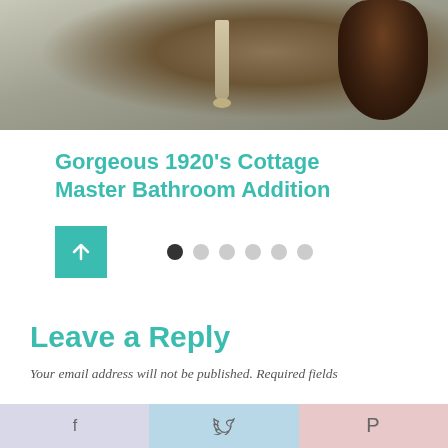[Figure (photo): Top portion of a bathroom photo showing a clawfoot bathtub leg and someone with curly brown hair]
Gorgeous 1920's Cottage Master Bathroom Addition
[Figure (other): Navigation controls: teal up-arrow button and 6 dots (first dot active/dark, rest grey)]
Leave a Reply
Your email address will not be published. Required fields
[Figure (other): Social sharing bar with Facebook (f), Twitter (bird), and Pinterest (P) buttons]